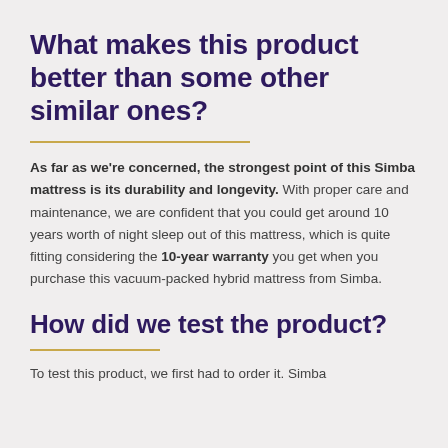What makes this product better than some other similar ones?
As far as we're concerned, the strongest point of this Simba mattress is its durability and longevity. With proper care and maintenance, we are confident that you could get around 10 years worth of night sleep out of this mattress, which is quite fitting considering the 10-year warranty you get when you purchase this vacuum-packed hybrid mattress from Simba.
How did we test the product?
To test this product, we first had to order it. Simba